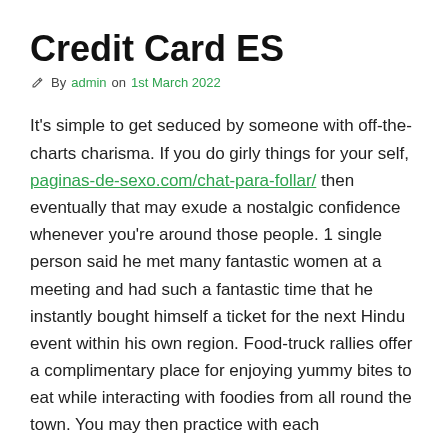Credit Card ES
By admin on 1st March 2022
It’s simple to get seduced by someone with off-the-charts charisma. If you do girly things for your self, paginas-de-sexo.com/chat-para-follar/ then eventually that may exude a nostalgic confidence whenever you’re around those people. 1 single person said he met many fantastic women at a meeting and had such a fantastic time that he instantly bought himself a ticket for the next Hindu event within his own region. Food-truck rallies offer a complimentary place for enjoying yummy bites to eat while interacting with foodies from all round the town. You may then practice with each